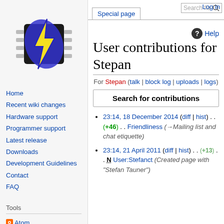Log in
[Figure (logo): FlashROM-style chip logo with lightning bolt, black chip with yellow and blue lightning bolt overlay]
Home
Recent wiki changes
Hardware support
Programmer support
Latest release
Downloads
Development Guidelines
Contact
FAQ
Tools
Atom
User contributions
Logs
User contributions for Stepan
For Stepan (talk | block log | uploads | logs)
Search for contributions
23:14, 18 December 2014 (diff | hist) . . (+46) . . Friendliness (→Mailing list and chat etiquette)
23:14, 21 April 2011 (diff | hist) . . (+13) . . N User:Stefanct (Created page with "Stefan Tauner")